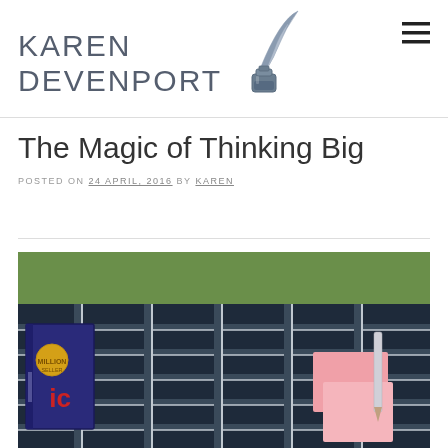KAREN DEVENPORT
The Magic of Thinking Big
POSTED ON 24 APRIL, 2016 BY KAREN
[Figure (photo): A photo showing a book on a navy blue plaid blanket outdoors on grass, with pink sticky notes and a pen beside it. The book appears to be 'The Magic of Thinking Big'.]